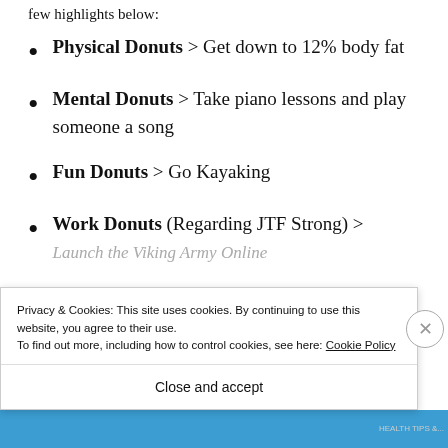few highlights below:
Physical Donuts > Get down to 12% body fat
Mental Donuts > Take piano lessons and play someone a song
Fun Donuts > Go Kayaking
Work Donuts (Regarding JTF Strong) > Launch the Viking Army Online
Privacy & Cookies: This site uses cookies. By continuing to use this website, you agree to their use. To find out more, including how to control cookies, see here: Cookie Policy
Close and accept